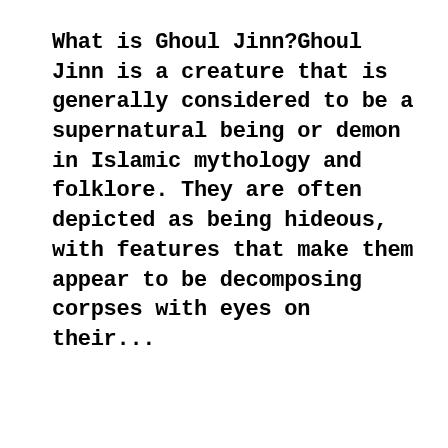What is Ghoul Jinn?Ghoul Jinn is a creature that is generally considered to be a supernatural being or demon in Islamic mythology and folklore. They are often depicted as being hideous, with features that make them appear to be decomposing corpses with eyes on their...